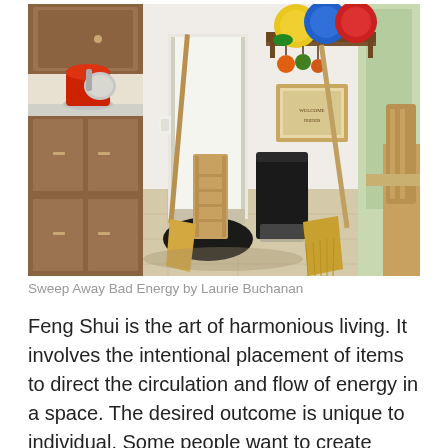[Figure (photo): Kitchen interior photo showing wooden cabinets with a red stand mixer on the counter, brooms leaning against a white wall, a black trash can, a wooden shelf with colorful plates (yellow, blue, red) and orange, green hanging items, a framed picture on the wall, a wooden chair and table visible on the right, and a door with a dark mat in the background.]
Sweep Away Bad Energy by Laurie Buchanan
Feng Shui is the art of harmonious living. It involves the intentional placement of items to direct the circulation and flow of energy in a space. The desired outcome is unique to individual. Some people want to create balance and